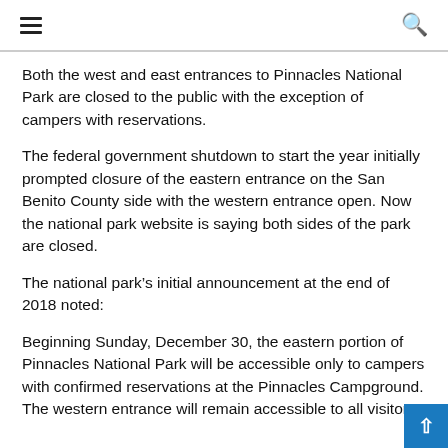≡ 🔍
Both the west and east entrances to Pinnacles National Park are closed to the public with the exception of campers with reservations.
The federal government shutdown to start the year initially prompted closure of the eastern entrance on the San Benito County side with the western entrance open. Now the national park website is saying both sides of the park are closed.
The national park's initial announcement at the end of 2018 noted:
Beginning Sunday, December 30, the eastern portion of Pinnacles National Park will be accessible only to campers with confirmed reservations at the Pinnacles Campground. The western entrance will remain accessible to all visitors.